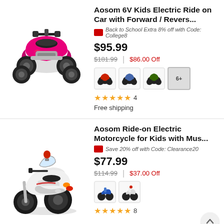[Figure (photo): Pink kids electric ATV/quad ride-on car, viewed from front-left angle]
Aosom 6V Kids Electric Ride on Car with Forward / Revers...
Back to School Extra 8% off with Code: College8
$95.99
$181.99  |  $86.00 Off
[Figure (photo): Color variant swatches: red ATV, blue/grey ATV, green ATV, 6+ more]
★★★★★ 4
Free shipping
[Figure (photo): White kids electric police motorcycle ride-on, viewed from left side]
Aosom Ride-on Electric Motorcycle for Kids with Mus...
Save 20% off with Code: Clearance20
$77.99
$114.99  |  $37.00 Off
[Figure (photo): Color variant swatches: blue motorcycle, white police motorcycle]
★★★★★ 8